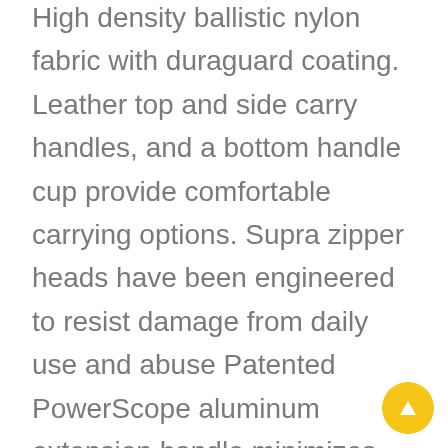High density ballistic nylon fabric with duraguard coating. Leather top and side carry handles, and a bottom handle cup provide comfortable carrying options. Supra zipper heads have been engineered to resist damage from daily use and abuse Patented PowerScope aluminum extension handle minimizes wobble and has three stops at 38 inch , 40 inch and 42.5 inch Leather top and side carry handles along with bottom handle cup provide comfortable carrying options Worry Free Warranty covers the cost of